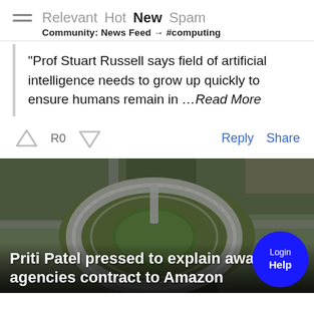Relevant Hot New Spam | Community: News Feed → #computing
"Prof Stuart Russell says field of artificial intelligence needs to grow up quickly to ensure humans remain in …Read More
↑ R0 ↓  Reply  Share
[Figure (photo): Aerial photograph of a large circular building (GCHQ doughnut building) surrounded by car parks and roads]
Priti Patel pressed to explain award of agencies contract to Amazon